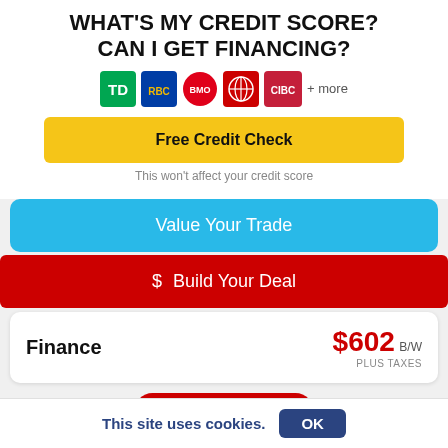WHAT'S MY CREDIT SCORE? CAN I GET FINANCING?
[Figure (logo): Bank logos: TD, RBC, BMO, Scotiabank, CIBC + more]
Free Credit Check
This won't affect your credit score
Value Your Trade
$ Build Your Deal
Finance  $602 B/W PLUS TAXES
See Details
Bad Credit?
Reserve Vehicle Now
This site uses cookies.
OK